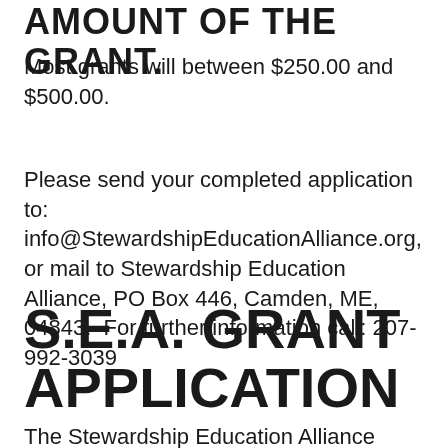AMOUNT OF THE GRANT:
Most grants will between $250.00 and $500.00.
Please send your completed application to: info@StewardshipEducationAlliance.org, or mail to Stewardship Education Alliance, PO Box 446, Camden, ME, 04843.  For further information call: 207-992-3039
S.E.A. GRANT APPLICATION
The Stewardship Education Alliance